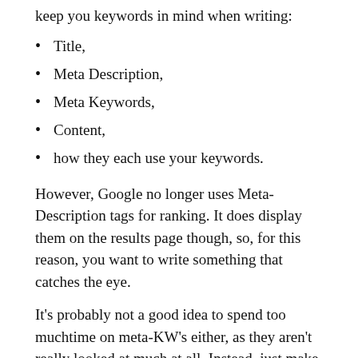keep you keywords in mind when writing:
Title,
Meta Description,
Meta Keywords,
Content,
how they each use your keywords.
However, Google no longer uses Meta-Description tags for ranking. It does display them on the results page though, so, for this reason, you want to write something that catches the eye.
It's probably not a good idea to spend too muchtime on meta-KW's either, as they aren't really looked at much at all. Instead, just make sure that your main keywords are, at the very least, inside the Meta keywords tag, for any applications that may consider them.